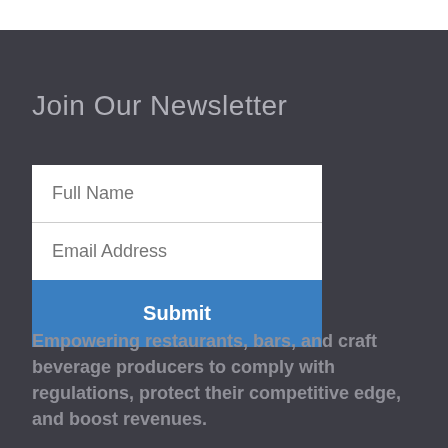Join Our Newsletter
[Figure (other): Newsletter signup form with Full Name and Email Address input fields and a blue Submit button]
Empowering restaurants, bars, and craft beverage producers to comply with regulations, protect their competitive edge, and boost revenues.